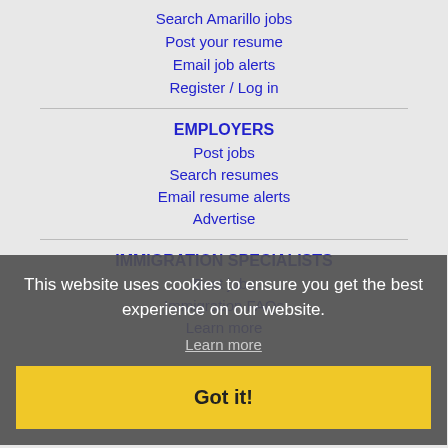Search Amarillo jobs
Post your resume
Email job alerts
Register / Log in
EMPLOYERS
Post jobs
Search resumes
Email resume alerts
Advertise
IMMIGRATION SPECIALISTS
Post jobs
Immigration FAQs
Learn more
This website uses cookies to ensure you get the best experience on our website.
Learn more
Got it!